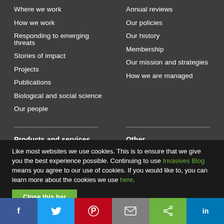Where we work
How we work
Responding to emerging threats
Stories of impact
Projects
Publications
Biological and social science
Our people
Annual reviews
Our policies
Our history
Membership
Our mission and strategies
How we are managed
Products and services
Other
Like most websites we use cookies. This is to ensure that we give you the best experience possible. Continuing to use Invasives Blog means you agree to our use of cookies. If you would like to, you can learn more about the cookies we use here.